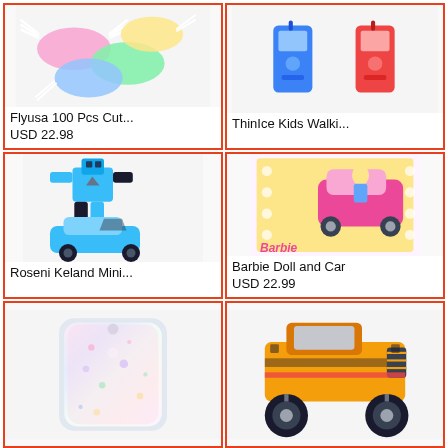[Figure (photo): Flyusa 100 Pcs Cut... product image - colorful masks/accessories]
Flyusa 100 Pcs Cut...
USD 22.98
[Figure (photo): ThinIce Kids Walki... product image - blue and red toy chairs/walkie-talkies]
ThinIce Kids Walki...
[Figure (photo): Roseni Keland Mini... product image - blue transforming robot car toy]
Roseni Keland Mini...
[Figure (photo): Barbie Doll and Car product image - Barbie in pink convertible car box]
Barbie Doll and Car
USD 22.99
[Figure (photo): Phone case product image - clear glitter iridescent phone case]
[Figure (photo): LEGO Technic monster truck product image - yellow and black 4x4 monster truck]